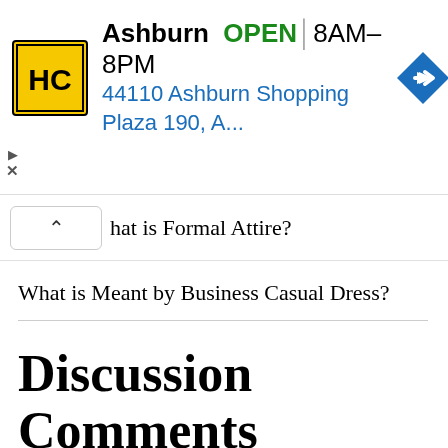[Figure (infographic): Advertisement banner for HC (Hair Club or similar) in Ashburn. Shows yellow/black HC logo, business name 'Ashburn', status 'OPEN', hours '8AM–8PM', address '44110 Ashburn Shopping Plaza 190, A...', and a blue navigation diamond icon. Controls for play and close are on the left side.]
hat is Formal Attire?
What is Meant by Business Casual Dress?
Discussion Comments